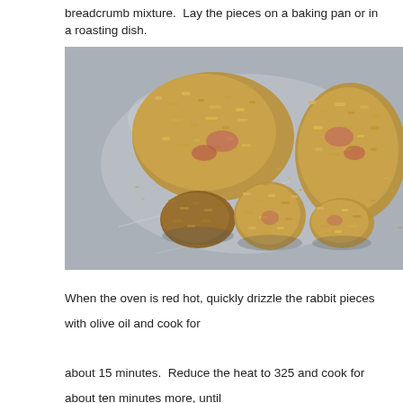breadcrumb mixture.  Lay the pieces on a baking pan or in a roasting dish.
[Figure (photo): Breaded rabbit pieces coated in a breadcrumb mixture laid out on a shiny metal baking pan/roasting dish, viewed from above. Five irregularly shaped pieces of meat covered in golden-brown breadcrumbs are visible, some showing pink meat underneath.]
When the oven is red hot, quickly drizzle the rabbit pieces with olive oil and cook for about 15 minutes.  Reduce the heat to 325 and cook for about ten minutes more, until the meat is tender.